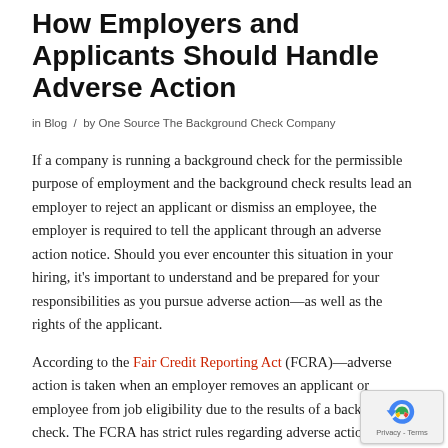How Employers and Applicants Should Handle Adverse Action
in Blog / by One Source The Background Check Company
If a company is running a background check for the permissible purpose of employment and the background check results lead an employer to reject an applicant or dismiss an employee, the employer is required to tell the applicant through an adverse action notice. Should you ever encounter this situation in your hiring, it's important to understand and be prepared for your responsibilities as you pursue adverse action—as well as the rights of the applicant.
According to the Fair Credit Reporting Act (FCRA)—adverse action is taken when an employer removes an applicant or employee from job eligibility due to the results of a background check. The FCRA has strict rules regarding adverse action to protect the applicants and hold the employers accountable.